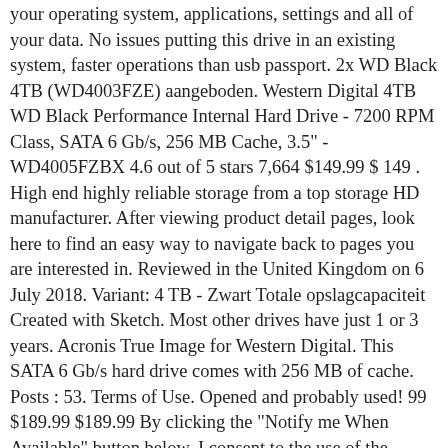your operating system, applications, settings and all of your data. No issues putting this drive in an existing system, faster operations than usb passport. 2x WD Black 4TB (WD4003FZE) aangeboden. Western Digital 4TB WD Black Performance Internal Hard Drive - 7200 RPM Class, SATA 6 Gb/s, 256 MB Cache, 3.5" - WD4005FZBX 4.6 out of 5 stars 7,664 $149.99 $ 149 . High end highly reliable storage from a top storage HD manufacturer. After viewing product detail pages, look here to find an easy way to navigate back to pages you are interested in. Reviewed in the United Kingdom on 6 July 2018. Variant: 4 TB - Zwart Totale opslagcapaciteit Created with Sketch. Most other drives have just 1 or 3 years. Acronis True Image for Western Digital. This SATA 6 Gb/s hard drive comes with 256 MB of cache. Posts : 53. Terms of Use. Opened and probably used! 99 $189.99 $189.99 By clicking the "Notify me When Available" button below, I consent to the use of the information provided below by Western Digital, to notify me when this item is back in stock. This 3.5-inch internal hard drive processes multiple large files like game textures, 4K footage, and graphic